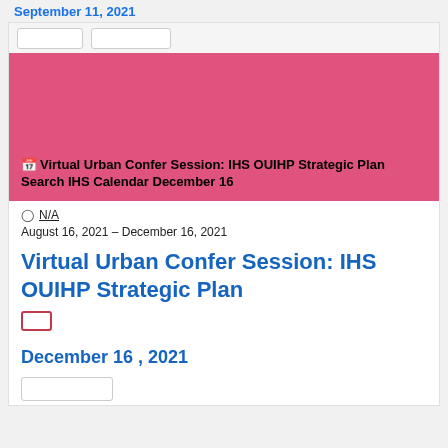September 11, 2021
[Figure (photo): Pink/magenta banner image for the event page with calendar icon and event title overlaid at bottom]
Virtual Urban Confer Session: IHS OUIHP Strategic Plan Search IHS Calendar December 16
N/A
August 16, 2021 – December 16, 2021
Virtual Urban Confer Session: IHS OUIHP Strategic Plan
December 16 , 2021